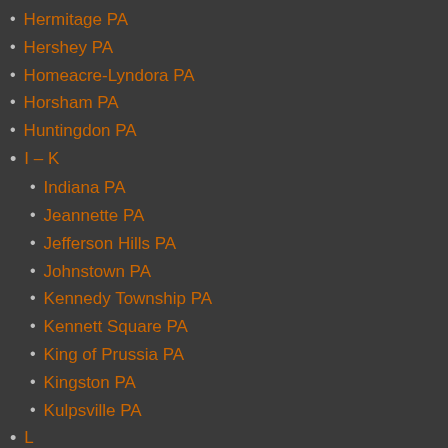Hermitage PA
Hershey PA
Homeacre-Lyndora PA
Horsham PA
Huntingdon PA
I – K
Indiana PA
Jeannette PA
Jefferson Hills PA
Johnstown PA
Kennedy Township PA
Kennett Square PA
King of Prussia PA
Kingston PA
Kulpsville PA
L
Lackawanna County PA
Lancaster County PA
Lancaster PA
Lansdale PA
Lansdowne PA
Latrobe PA
Leacock-Leola-Bareville PA